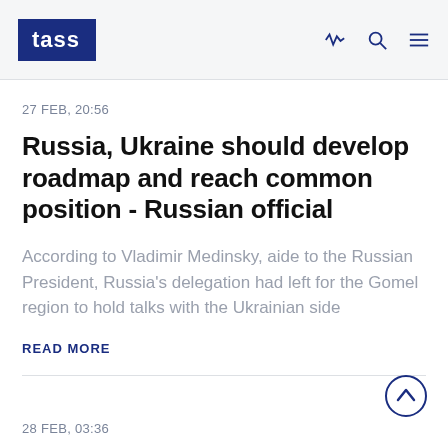TASS
27 FEB, 20:56
Russia, Ukraine should develop roadmap and reach common position - Russian official
According to Vladimir Medinsky, aide to the Russian President, Russia's delegation had left for the Gomel region to hold talks with the Ukrainian side
READ MORE
28 FEB, 03:36